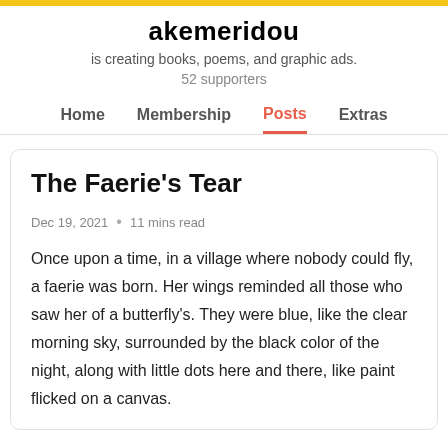akemeridou
is creating books, poems, and graphic ads.
52 supporters
Home  Membership  Posts  Extras
The Faerie's Tear
Dec 19, 2021  •  11 mins read
Once upon a time, in a village where nobody could fly, a faerie was born. Her wings reminded all those who saw her of a butterfly's. They were blue, like the clear morning sky, surrounded by the black color of the night, along with little dots here and there, like paint flicked on a canvas.